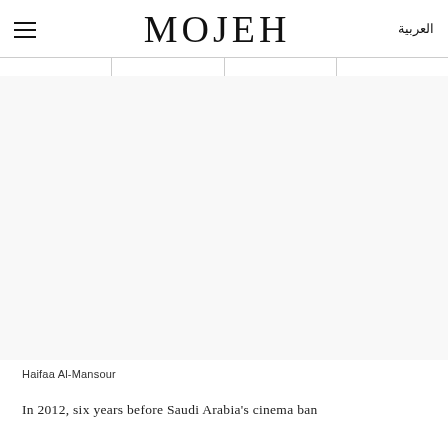MOJEH | العربية
[Figure (photo): Portrait photo area of Haifaa Al-Mansour (white/blank in this view)]
Haifaa Al-Mansour
In 2012, six years before Saudi Arabia's cinema ban